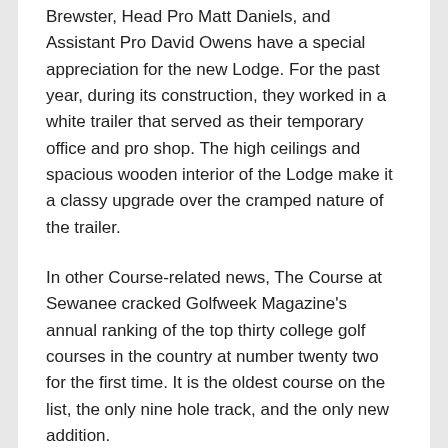Brewster, Head Pro Matt Daniels, and Assistant Pro David Owens have a special appreciation for the new Lodge. For the past year, during its construction, they worked in a white trailer that served as their temporary office and pro shop. The high ceilings and spacious wooden interior of the Lodge make it a classy upgrade over the cramped nature of the trailer.
In other Course-related news, The Course at Sewanee cracked Golfweek Magazine's annual ranking of the top thirty college golf courses in the country at number twenty two for the first time. It is the oldest course on the list, the only nine hole track, and the only new addition.
Share this: